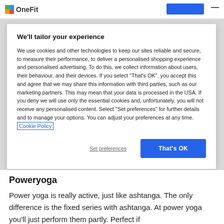OneFit
We'll tailor your experience
We use cookies and other technologies to keep our sites reliable and secure, to measure their performance, to deliver a personalised shopping experience and personalised advertising. To do this, we collect information about users, their behaviour, and their devices. If you select "That's OK", you accept this and agree that we may share this information with third parties, such as our marketing partners. This may mean that your data is processed in the USA. If you deny we will use only the essential cookies and, unfortunately, you will not receive any personalised content. Select "Set preferences" for further details and to manage your options. You can adjust your preferences at any time. Cookie Policy
Set preferences
That's OK
Poweryoga
Power yoga is really active, just like ashtanga. The only difference is the fixed series with ashtanga. At power yoga you'll just perform them partly. Perfect if